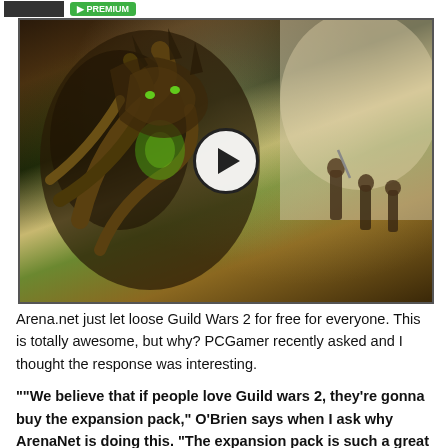[Figure (screenshot): Video thumbnail showing Guild Wars 2 fantasy game scene with large creature/boss and warriors, with a play button overlay in the center]
Arena.net just let loose Guild Wars 2 for free for everyone. This is totally awesome, but why? PCGamer recently asked and I thought the response was interesting.
""We believe that if people love Guild wars 2, they're gonna buy the expansion pack," O'Brien says when I ask why ArenaNet is doing this. "The expansion pack is such a great value. There's so much content, not only in the expansion pack but in all the free updates that will come past that." While Guild Wars 2 is now free, it won't